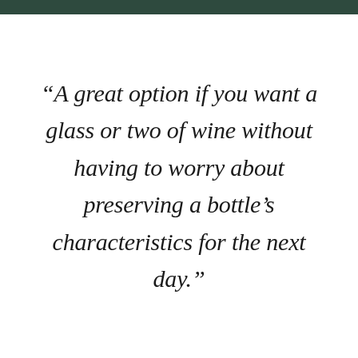“A great option if you want a glass or two of wine without having to worry about preserving a bottle’s characteristics for the next day.”